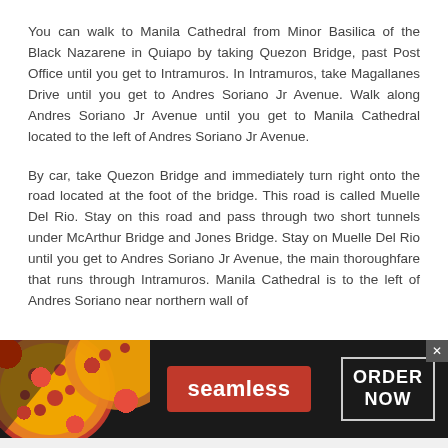You can walk to Manila Cathedral from Minor Basilica of the Black Nazarene in Quiapo by taking Quezon Bridge, past Post Office until you get to Intramuros. In Intramuros, take Magallanes Drive until you get to Andres Soriano Jr Avenue. Walk along Andres Soriano Jr Avenue until you get to Manila Cathedral located to the left of Andres Soriano Jr Avenue.
By car, take Quezon Bridge and immediately turn right onto the road located at the foot of the bridge. This road is called Muelle Del Rio. Stay on this road and pass through two short tunnels under McArthur Bridge and Jones Bridge. Stay on Muelle Del Rio until you get to Andres Soriano Jr Avenue, the main thoroughfare that runs through Intramuros. Manila Cathedral is to the left of Andres Soriano near northern wall of
[Figure (infographic): Seamless food delivery advertisement banner with pizza image on the left, red 'seamless' button in the center, and 'ORDER NOW' button on the right, on a dark background. Has a close (x) button in the top-right corner.]